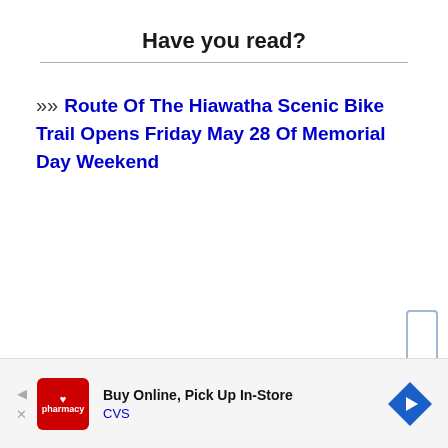Have you read?
Route Of The Hiawatha Scenic Bike Trail Opens Friday May 28 Of Memorial Day Weekend
[Figure (other): Advertisement bar for CVS Pharmacy: Buy Online, Pick Up In-Store]
CVS